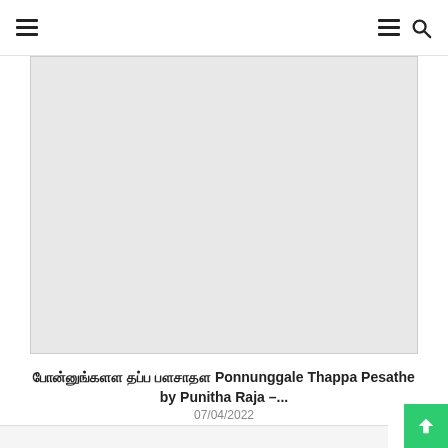Navigation bar with hamburger menu icons and search icon
[Figure (photo): Large image placeholder area with light gray background, representing an article thumbnail or cover image for the Ponnunggale Thappa Pesathe article]
பொன்னுங்களே தப்ப பேசாதே Ponnunggale Thappa Pesathe by Punitha Raja –...
07/04/2022